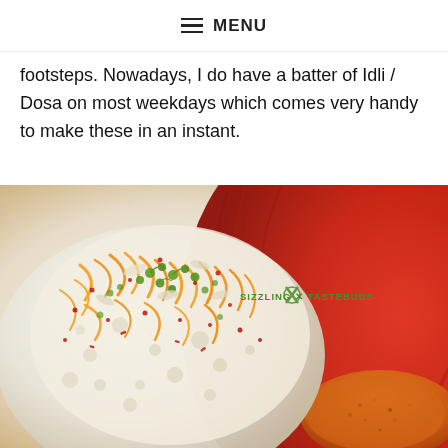☰ MENU
footsteps. Nowadays, I do have a batter of Idli / Dosa on most weekdays which comes very handy to make these in an instant.
[Figure (photo): Close-up photo of Idli / Dosa topped with grated carrot, chopped onions, green herbs/chutney, and red chili flakes, served in a red bowl with dry chutney powder on the side. Watermark reads 'SIZZLING TASTEBUDS' with a crossed fork and spoon icon.]